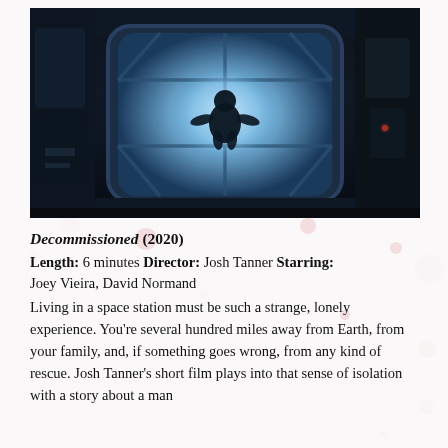[Figure (photo): Dark interior photo of a space station module with a large hexagonal window. A person is silhouetted against a bright blue light coming through the window. The surrounding walls are dark with equipment visible.]
Decommissioned (2020)
Length: 6 minutes Director: Josh Tanner Starring: Joey Vieira, David Normand
Living in a space station must be such a strange, lonely experience. You're several hundred miles away from Earth, from your family, and, if something goes wrong, from any kind of rescue. Josh Tanner's short film plays into that sense of isolation with a story about a man